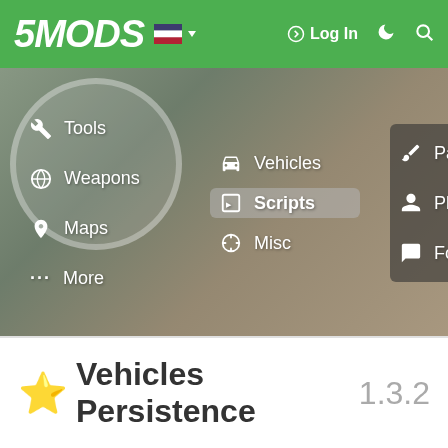[Figure (screenshot): 5MODS website navigation screenshot showing top green navigation bar with logo '5MODS', flag icon, Log In button, moon icon, search icon, and an expanded dropdown menu showing categories: Tools, Weapons, Maps, More (left column), Vehicles, Scripts (highlighted), Misc (middle column), Paint Jobs, Player, Forums (right column). Background shows a blurred GTA scene.]
★ Vehicles Persistence 1.3.2